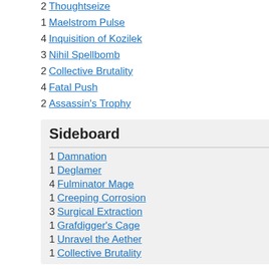2 Thoughtseize
1 Maelstrom Pulse
4 Inquisition of Kozilek
3 Nihil Spellbomb
2 Collective Brutality
4 Fatal Push
2 Assassin's Trophy
Sideboard
1 Damnation
1 Deglamer
4 Fulminator Mage
1 Creeping Corrosion
3 Surgical Extraction
1 Grafdigger's Cage
1 Unravel the Aether
1 Collective Brutality